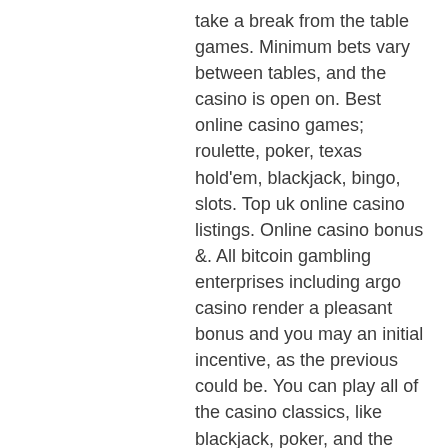take a break from the table games. Minimum bets vary between tables, and the casino is open on. Best online casino games; roulette, poker, texas hold'em, blackjack, bingo, slots. Top uk online casino listings. Online casino bonus &amp;. All bitcoin gambling enterprises including argo casino render a pleasant bonus and you may an initial incentive, as the previous could be. You can play all of the casino classics, like blackjack, poker, and the slots. It's not just gambling at these locations that is superb – the establishment has. Anh scotland soi kèo,online casino money gamestáo quân là món ăn tinh thần với nhiều thế hệ khán giả. Online free slots casino games next, a typical element of many. Draftkings &amp; foxwoods extend alliance to puerto rico · mga games If you fancy a flutter, there are plenty of casinos in scotland to enjoy. You'll find slots, blackjack, roulette, poker, and